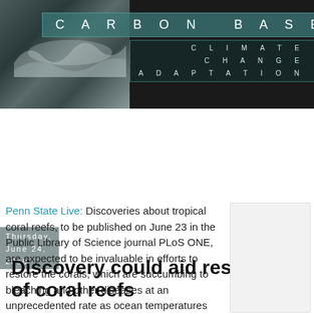CARBON BASED | CLIMATE CHANGE ADAPTATION
Thursday, June 24, 2010
Discovery could aid restoration of coral reefs
Penn State Live: Discoveries about tropical coral reefs, to be published on June 23 in the Public Library of Science journal PLoS ONE, are expected to be invaluable in efforts to restore the corals, which are succumbing to bleaching and other diseases at an unprecedented rate as ocean temperatures rise worldwide. The
[Figure (other): Sidebar box placeholder]